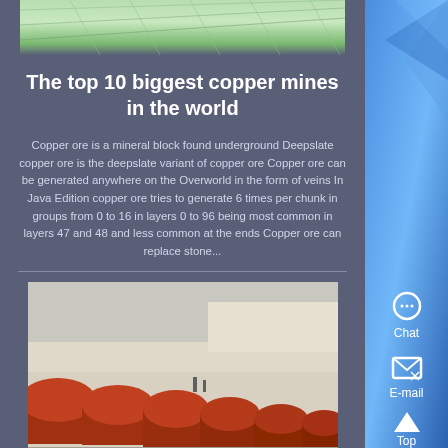[Figure (photo): Top image showing green/teal grid-like structure resembling a copper mine aerial view or greenhouse]
The top 10 biggest copper mines in the world
Copper ore is a mineral block found underground Deepslate copper ore is the deepslate variant of copper ore Copper ore can be generated anywhere on the Overworld in the form of veins In Java Edition copper ore tries to generate 6 times per chunk in groups from 0 to 16 in layers 0 to 96 being most common in layers 47 and 48 and less common at the ends Copper ore can replace stone...
[Figure (photo): Photo of large red/brown industrial copper ore containers or tanks lined up in a row outside a building]
Best place for large copper ore deposits Subnautica